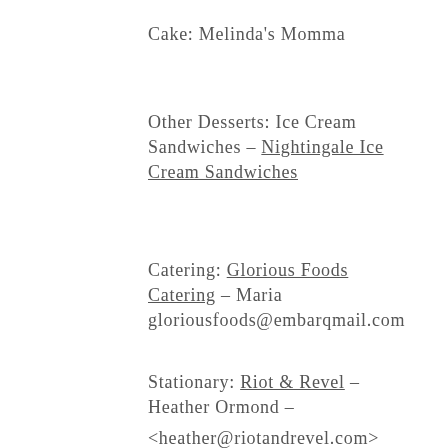Cake: Melinda's Momma
Other Desserts: Ice Cream Sandwiches – Nightingale Ice Cream Sandwiches
Catering: Glorious Foods Catering – Maria gloriousfoods@embarqmail.com
Stationary: Riot & Revel – Heather Ormond –
<heather@riotandrevel.com>